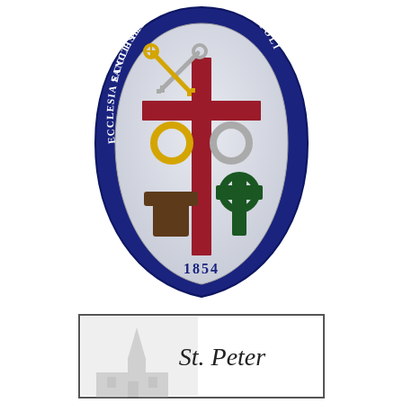[Figure (logo): Ecclesiastical seal/logo: a shield-shaped badge with a dark navy blue outer ring bearing the Latin text 'ECCLESIA SANCTI PETRI APOSTOLI' around the perimeter. Inside the ring is an almond/vesica-shaped shield with a white/silver background. The shield contains a large dark red/crimson Latin cross, crossed keys (gold and silver) at the top, two rings (gold and silver) in the middle, a brown Tau cross (Franciscan cross) at lower left, and a green Celtic cross at lower right. The year '1854' appears at the bottom of the shield.]
[Figure (logo): Partial view of a second logo/image at the bottom: a rectangular frame with a faded background image of a church building and the text 'St. Peter' visible in serif font.]